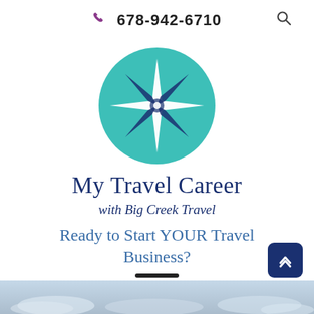678-942-6710
[Figure (logo): Teal circular logo with a compass rose (star/wind rose) in white and navy blue. The compass star has 8 points with cardinal and intercardinal directions.]
My Travel Career
with Big Creek Travel
Ready to Start YOUR Travel Business?
[Figure (other): Hamburger menu icon (three horizontal lines)]
[Figure (photo): Bottom strip showing a light blue-gray sky with clouds, fading in at the bottom of the page.]